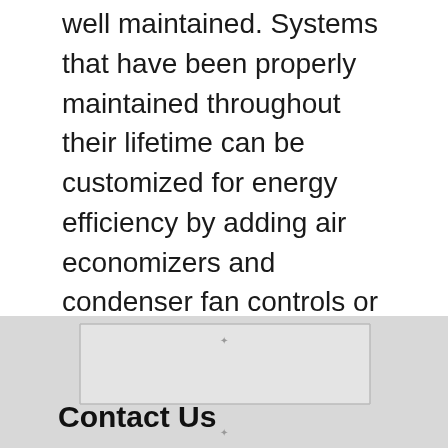well maintained. Systems that have been properly maintained throughout their lifetime can be customized for energy efficiency by adding air economizers and condenser fan controls or replacing the compressor. These useful tips can help you get the most out of your HVAC system while spending less on your energy bills in the long term.
HVAC
< What Are Humidifiers Used For?
> What Might Cause Water in Heating Ducts?
Contact Us